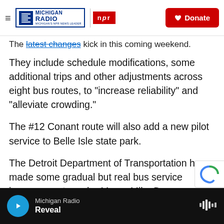Michigan Radio | NPR | Donate
The latest changes kick in this coming weekend.
They include schedule modifications, some additional trips and other adjustments across eight bus routes, to “increase reliability” and “alleviate crowding.”
The #12 Conant route will also add a new pilot service to Belle Isle state park.
The Detroit Department of Transportation has made some gradual but real bus service improvements under Mayor Mike Duggan.
Michigan Radio | Reveal